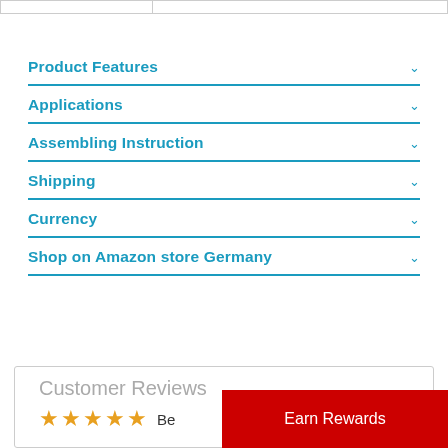|  |  |
| --- | --- |
|  |
Product Features
Applications
Assembling Instruction
Shipping
Currency
Shop on Amazon store Germany
Customer Reviews
Be
Earn Rewards